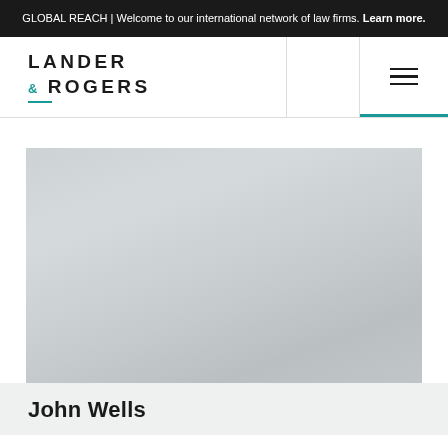GLOBAL REACH | Welcome to our international network of law firms. Learn more.
[Figure (logo): Lander & Rogers law firm logo with teal ampersand and underline accent]
[Figure (photo): Portrait photograph of John Wells, blurred/placeholder grey gradient image]
John Wells